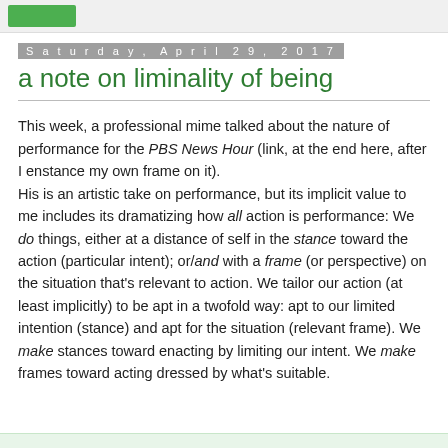Saturday, April 29, 2017
a note on liminality of being
This week, a professional mime talked about the nature of performance for the PBS News Hour (link, at the end here, after I enstance my own frame on it).
His is an artistic take on performance, but its implicit value to me includes its dramatizing how all action is performance: We do things, either at a distance of self in the stance toward the action (particular intent); or/and with a frame (or perspective) on the situation that's relevant to action. We tailor our action (at least implicitly) to be apt in a twofold way: apt to our limited intention (stance) and apt for the situation (relevant frame). We make stances toward enacting by limiting our intent. We make frames toward acting dressed by what's suitable.